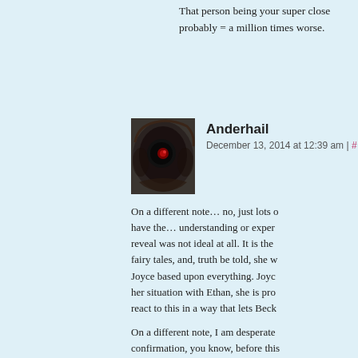That person being your super close probably = a million times worse.
Anderhail
December 13, 2014 at 12:39 am | #
On a different note… no, just lots of have the… understanding or exper reveal was not ideal at all. It is the fairy tales, and, truth be told, she w Joyce based upon everything. Joyc her situation with Ethan, she is pro react to this in a way that lets Beck
On a different note, I am desperate confirmation, you know, before this
*MINOR WALKYVERSE SPOILER Like in the other universe, do I hav attractive coming up through Anti-J males? Did she maybe hint female doing what I think it is doing and m and memories of Vampire-Willow? have stumbled into Word-of-God o deleting the ones I ran into without